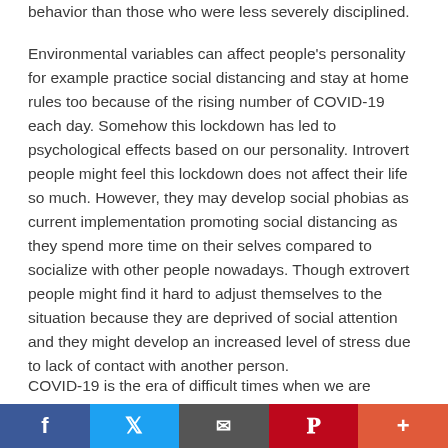behavior than those who were less severely disciplined.
Environmental variables can affect people's personality for example practice social distancing and stay at home rules too because of the rising number of COVID-19 each day. Somehow this lockdown has led to psychological effects based on our personality. Introvert people might feel this lockdown does not affect their life so much. However, they may develop social phobias as current implementation promoting social distancing as they spend more time on their selves compared to socialize with other people nowadays. Though extrovert people might find it hard to adjust themselves to the situation because they are deprived of social attention and they might develop an increased level of stress due to lack of contact with another person.
COVID-19 is the era of difficult times when we are
Facebook | Twitter | Email | Pinterest | More